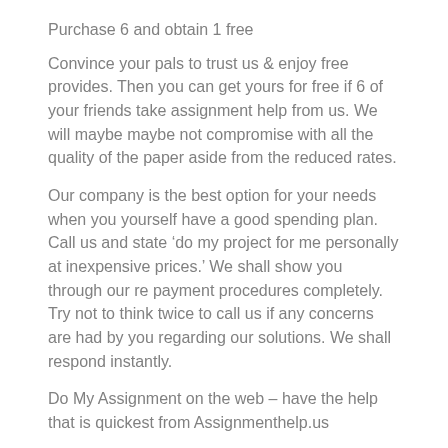Purchase 6 and obtain 1 free
Convince your pals to trust us & enjoy free provides. Then you can get yours for free if 6 of your friends take assignment help from us. We will maybe maybe not compromise with all the quality of the paper aside from the reduced rates.
Our company is the best option for your needs when you yourself have a good spending plan. Call us and state ‘do my project for me personally at inexpensive prices.’ We shall show you through our re payment procedures completely. Try not to think twice to call us if any concerns are had by you regarding our solutions. We shall respond instantly.
Do My Assignment on the web – have the help that is quickest from Assignmenthelp.us
Our client-centric approaches mean to secure your